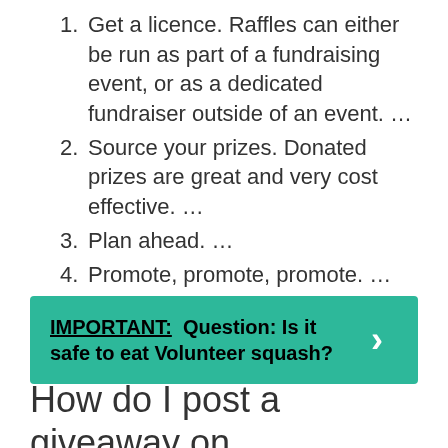1. Get a licence. Raffles can either be run as part of a fundraising event, or as a dedicated fundraiser outside of an event. …
2. Source your prizes. Donated prizes are great and very cost effective. …
3. Plan ahead. …
4. Promote, promote, promote. …
5. Don't forget the legal stuff.
IMPORTANT: Question: Is it safe to eat Volunteer squash?
How do I post a giveaway on Facebook?